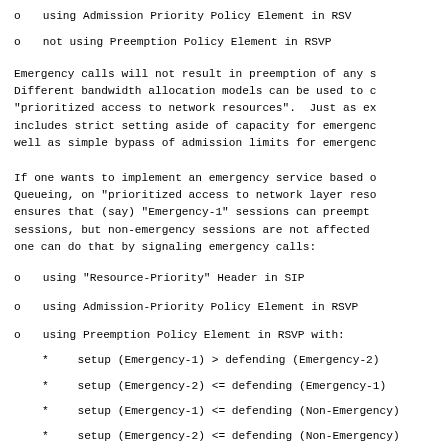o  using Admission Priority Policy Element in RSV
o  not using Preemption Policy Element in RSVP
Emergency calls will not result in preemption of any s Different bandwidth allocation models can be used to c "prioritized access to network resources".  Just as ex includes strict setting aside of capacity for emergenc well as simple bypass of admission limits for emergenc
If one wants to implement an emergency service based o Queueing, on "prioritized access to network layer reso ensures that (say) "Emergency-1" sessions can preempt sessions, but non-emergency sessions are not affected one can do that by signaling emergency calls:
o  using "Resource-Priority" Header in SIP
o  using Admission-Priority Policy Element in RSVP
o  using Preemption Policy Element in RSVP with:
*   setup (Emergency-1) > defending (Emergency-2)
*   setup (Emergency-2) <= defending (Emergency-1)
*   setup (Emergency-1) <= defending (Non-Emergency)
*   setup (Emergency-2) <= defending (Non-Emergency)
If one wants to implement an emergency service based (